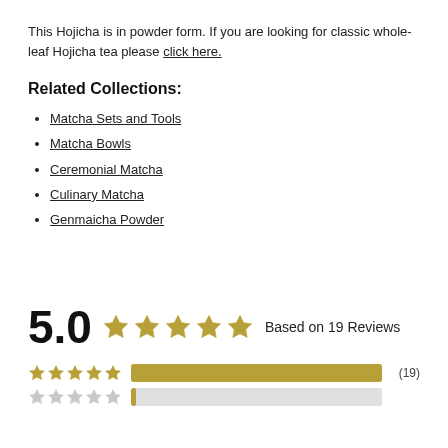This Hojicha is in powder form. If you are looking for classic whole-leaf Hojicha tea please click here.
Related Collections:
Matcha Sets and Tools
Matcha Bowls
Ceremonial Matcha
Culinary Matcha
Genmaicha Powder
5.0 ★★★★★ Based on 19 Reviews
[Figure (infographic): Rating bars showing 5-star and 4-star review distributions. 5-star: full bar, (19). 4-star: empty/minimal bar, (0?).]